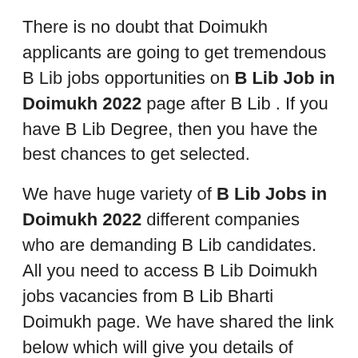There is no doubt that Doimukh applicants are going to get tremendous B Lib jobs opportunities on B Lib Job in Doimukh 2022 page after B Lib . If you have B Lib Degree, then you have the best chances to get selected.
We have huge variety of B Lib Jobs in Doimukh 2022 different companies who are demanding B Lib candidates. All you need to access B Lib Doimukh jobs vacancies from B Lib Bharti Doimukh page. We have shared the link below which will give you details of companies which are hiring for B Lib Degree Candidates.
Just check out your Related B Lib Job in Doimukh 2022 and apply to the relevant jobs. Keep your mind positive and grab the best B Lib